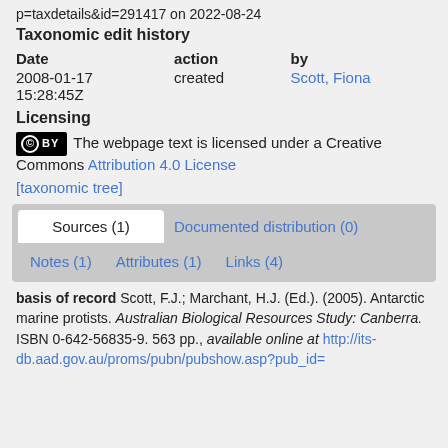p=taxdetails&id=291417 on 2022-08-24
Taxonomic edit history
| Date | action | by |
| --- | --- | --- |
| 2008-01-17 15:28:45Z | created | Scott, Fiona |
Licensing
The webpage text is licensed under a Creative Commons Attribution 4.0 License
[taxonomic tree]
Sources (1)    Documented distribution (0)    Notes (1)    Attributes (1)    Links (4)
basis of record Scott, F.J.; Marchant, H.J. (Ed.). (2005). Antarctic marine protists. Australian Biological Resources Study: Canberra. ISBN 0-642-56835-9. 563 pp., available online at http://its-db.aad.gov.au/proms/pubn/pubshow.asp?pub_id=